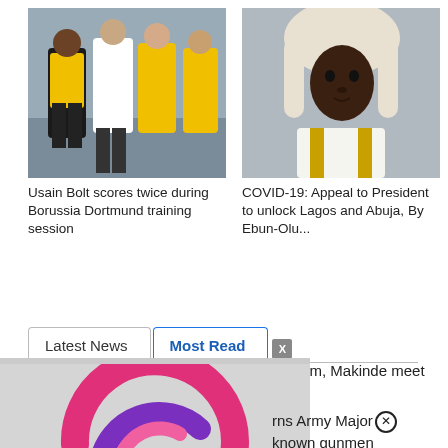[Figure (photo): Photo of Usain Bolt with Borussia Dortmund players in yellow training kit]
Usain Bolt scores twice during Borussia Dortmund training session
[Figure (photo): Photo of a person in a judge's wig and robe]
COVID-19: Appeal to President to unlock Lagos and Abuja, By Ebun-Olu...
Latest News
Most Read
, Ortom, Makinde meet
[Figure (logo): Ureka Media logo — colorful spiral/crescent shape with text 'Ureka | MEDIA']
rns Army Major
known gunmen